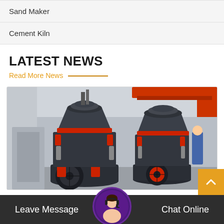Sand Maker
Cement Kiln
LATEST NEWS
Read More News
[Figure (photo): Industrial cone crushers in a manufacturing/warehouse facility, two large dark grey machines with red accents visible, orange overhead crane in background, worker in blue visible at right]
Leave Message
Chat Online